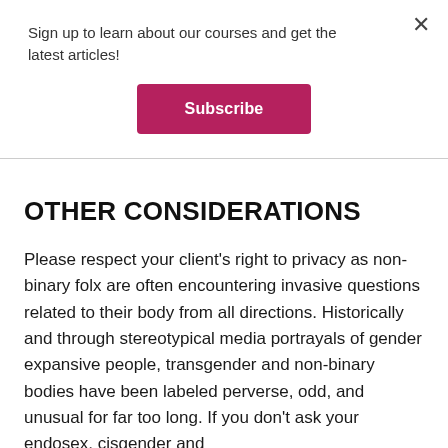Sign up to learn about our courses and get the latest articles!
Subscribe
OTHER CONSIDERATIONS
Please respect your client's right to privacy as non-binary folx are often encountering invasive questions related to their body from all directions. Historically and through stereotypical media portrayals of gender expansive people, transgender and non-binary bodies have been labeled perverse, odd, and unusual for far too long. If you don't ask your endosex, cisgender and